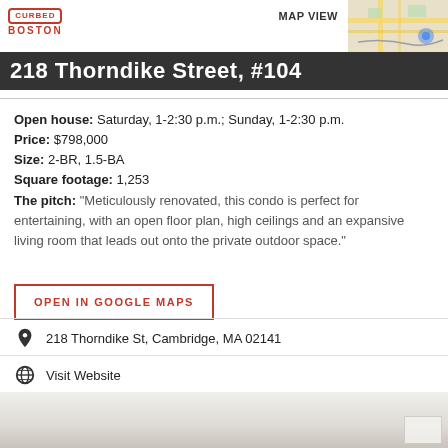CURBED BOSTON | MAP VIEW
218 Thorndike Street, #104
Open house: Saturday, 1-2:30 p.m.; Sunday, 1-2:30 p.m.
Price: $798,000
Size: 2-BR, 1.5-BA
Square footage: 1,253
The pitch: “Meticulously renovated, this condo is perfect for entertaining, with an open floor plan, high ceilings and an expansive living room that leads out onto the private outdoor space.”
OPEN IN GOOGLE MAPS
218 Thorndike St, Cambridge, MA 02141
Visit Website
[Figure (photo): Interior photo of a renovated condo room with white walls and ceiling]